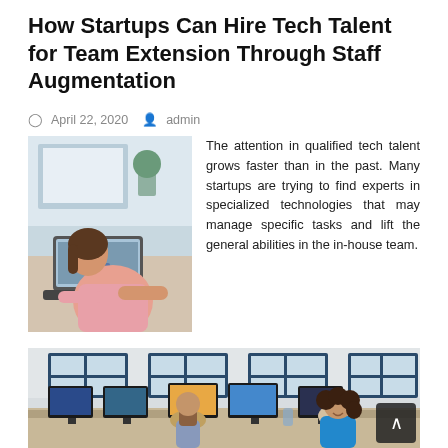How Startups Can Hire Tech Talent for Team Extension Through Staff Augmentation
© April 22, 2020  👤 admin
[Figure (photo): Woman working on laptop during a video call, seen from behind/side, in a bright office setting]
The attention in qualified tech talent grows faster than in the past. Many startups are trying to find experts in specialized technologies that may manage specific tasks and lift the general abilities in the in-house team.
[Figure (photo): Office environment with people working at desktop computers, blue-framed windows in background, two women visible]